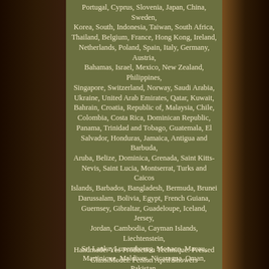Portugal, Cyprus, Slovenia, Japan, China, Sweden, Korea, South, Indonesia, Taiwan, South Africa, Thailand, Belgium, France, Hong Kong, Ireland, Netherlands, Poland, Spain, Italy, Germany, Austria, Bahamas, Israel, Mexico, New Zealand, Philippines, Singapore, Switzerland, Norway, Saudi Arabia, Ukraine, United Arab Emirates, Qatar, Kuwait, Bahrain, Croatia, Republic of, Malaysia, Chile, Colombia, Costa Rica, Dominican Republic, Panama, Trinidad and Tobago, Guatemala, El Salvador, Honduras, Jamaica, Antigua and Barbuda, Aruba, Belize, Dominica, Grenada, Saint Kitts-Nevis, Saint Lucia, Montserrat, Turks and Caicos Islands, Barbados, Bangladesh, Bermuda, Brunei Darussalam, Bolivia, Egypt, French Guiana, Guernsey, Gibraltar, Guadeloupe, Iceland, Jersey, Jordan, Cambodia, Cayman Islands, Liechtenstein, Sri Lanka, Luxembourg, Monaco, Macau, Martinique, Maldives, Nicaragua, Oman, Pakistan, Paraguay, Reunion, Uruguay, Russian Federation.
Handmade: Yes Production Technique: Pressed Glass Model: Fenton April Showers